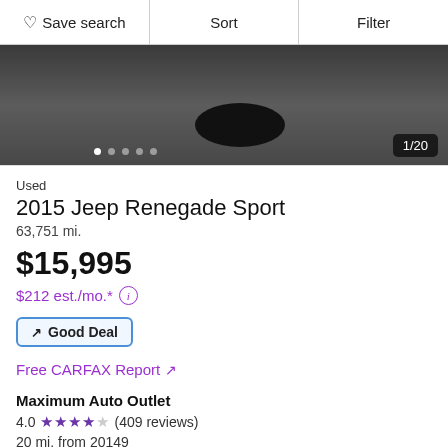Save search | Sort | Filter
[Figure (photo): Partial car photo showing wheel/tire on pavement with image counter 1/20 and dot navigation indicators]
Used
2015 Jeep Renegade Sport
63,751 mi.
$15,995
$212 est./mo.*
Good Deal
Free CARFAX Report ↗
Maximum Auto Outlet
4.0 ★★★★☆ (409 reviews)
20 mi. from 20149